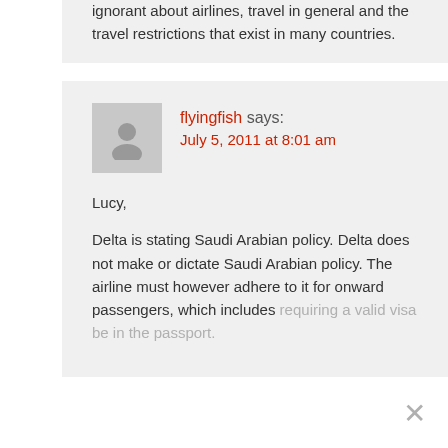ignorant about airlines, travel in general and the travel restrictions that exist in many countries.
flyingfish says:
July 5, 2011 at 8:01 am
Lucy,

Delta is stating Saudi Arabian policy. Delta does not make or dictate Saudi Arabian policy. The airline must however adhere to it for onward passengers, which includes requiring a valid visa be in the passport.